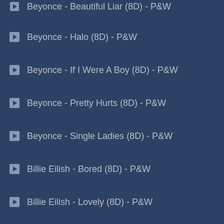Beyonce - Beautiful Liar (8D) - P&W
Beyonce - Halo (8D) - P&W
Beyonce - If I Were A Boy (8D) - P&W
Beyonce - Pretty Hurts (8D) - P&W
Beyonce - Single Ladies (8D) - P&W
Billie Eilish - Bored (8D) - P&W
Billie Eilish - Lovely (8D) - P&W
Billie Eilish - You Should See Me In A Crown (8D) -